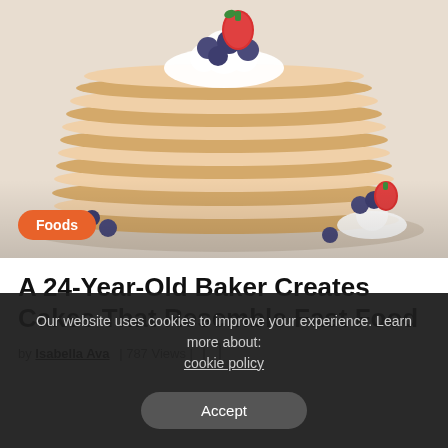[Figure (photo): A tall stack of pancakes topped with whipped cream, fresh strawberries, and blueberries on a light background, with a small whipped cream garnish and berries in the foreground right.]
Foods
A 24-Year-Old Baker Creates Cakes That Resemble Fast Food
by Isabella Ava | 787 Views |
Our website uses cookies to improve your experience. Learn more about: cookie policy
Accept